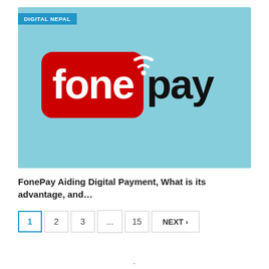[Figure (logo): FonePay logo on a light blue background with a red rounded rectangle containing white text 'fone' with a wifi signal icon, and black text 'pay' to the right. A 'DIGITAL NEPAL' blue tag is in the top-left corner.]
FonePay Aiding Digital Payment, What is its advantage, and…
1  2  3  ...  15  NEXT >